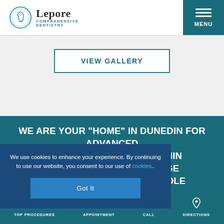[Figure (logo): Lepore Comprehensive Dentistry logo with circular tooth icon]
VIEW GALLERY
WE ARE YOUR "HOME" IN DUNEDIN FOR ADVANCED MEDICINE. WITHIN CONCIERGE YOUR WHOLE ND HEALTH OF
We use cookies to enhance your experience. By continuing to use our website, you consent to our use of cookies..
Got It
TOP PROCEDURES  APPOINTMENT  CALL  DIRECTIONS